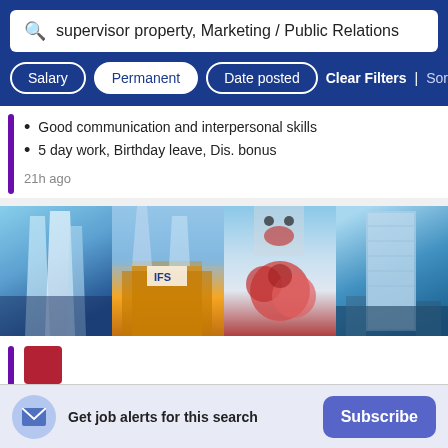[Figure (screenshot): Search bar with text: supervisor property, Marketing / Public Relations]
[Figure (screenshot): Filter buttons row: Salary, Permanent (active), Date posted, Clear Filters | Sort By Rel]
Good communication and interpersonal skills
5 day work, Birthday leave, Dis. bonus
21h ago
[Figure (photo): Strip of 4 photos showing glass skyscrapers, IFS mall, panda sculptures, and a modern building]
Get job alerts for this search
Subscribe